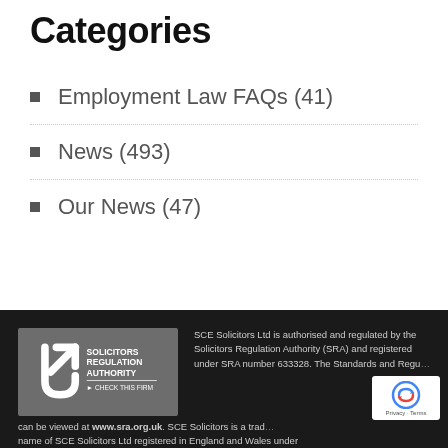Categories
Employment Law FAQs (41)
News (493)
Our News (47)
[Figure (logo): Solicitors Regulation Authority logo with 'CHECK THIS FIRM' text on grey background]
SCE Solicitors Ltd is authorised and regulated by the Solicitors Regulation Authority (SRA) and registered under SRA number 633328. The Standards and Regu... can be viewed at www.sra.org.uk. SCE Solicitors is a trading name of SCE Solicitors Ltd registered in England and Wales under